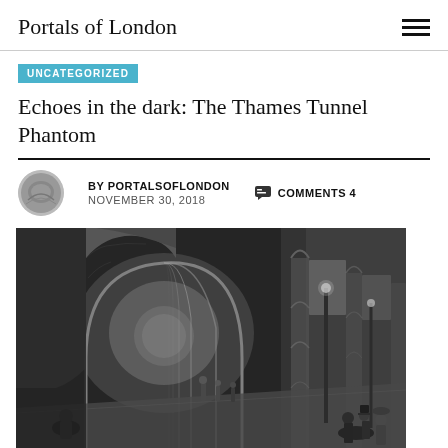Portals of London
UNCATEGORIZED
Echoes in the dark: The Thames Tunnel Phantom
BY PORTALSOFLONDON    COMMENTS 4
NOVEMBER 30, 2018
[Figure (photo): Historical black and white engraving of the interior of the Thames Tunnel showing arched brick barrel vaults receding into the distance with Victorian-era pedestrians walking through.]